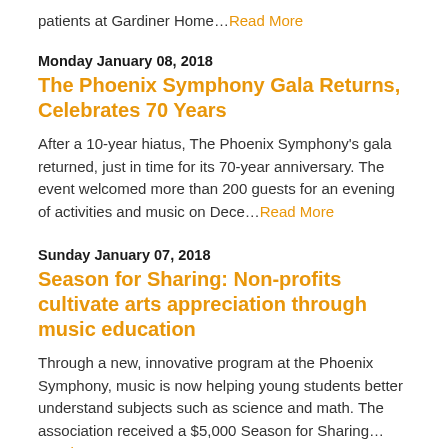patients at Gardiner Home…Read More
Monday January 08, 2018
The Phoenix Symphony Gala Returns, Celebrates 70 Years
After a 10-year hiatus, The Phoenix Symphony's gala returned, just in time for its 70-year anniversary. The event welcomed more than 200 guests for an evening of activities and music on Dece…Read More
Sunday January 07, 2018
Season for Sharing: Non-profits cultivate arts appreciation through music education
Through a new, innovative program at the Phoenix Symphony, music is now helping young students better understand subjects such as science and math. The association received a $5,000 Season for Sharing…Read More